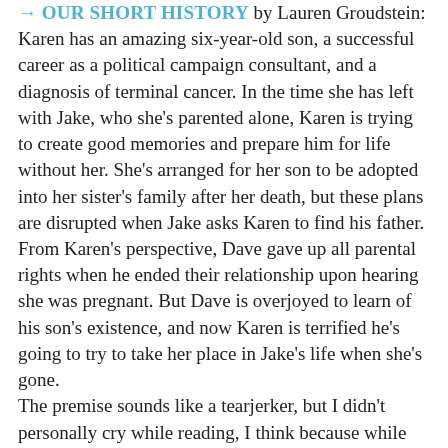→ OUR SHORT HISTORY by Lauren Groudstein: Karen has an amazing six-year-old son, a successful career as a political campaign consultant, and a diagnosis of terminal cancer. In the time she has left with Jake, who she's parented alone, Karen is trying to create good memories and prepare him for life without her. She's arranged for her son to be adopted into her sister's family after her death, but these plans are disrupted when Jake asks Karen to find his father. From Karen's perspective, Dave gave up all parental rights when he ended their relationship upon hearing she was pregnant. But Dave is overjoyed to learn of his son's existence, and now Karen is terrified he's going to try to take her place in Jake's life when she's gone.
The premise sounds like a tearjerker, but I didn't personally cry while reading, I think because while Karen occasionally gives in to despair, the narration focuses more on her stubbornness, anger, and dark humor. This is a sad situation, sure, but it's also a complex one, and the story is mostly about the nuances of characters trying to do the right thing when they can't agree on what that is. I found all the characters real and sympathetic, and I was absorbed by their interactions. I also liked the glimpses into Karen's campaign...